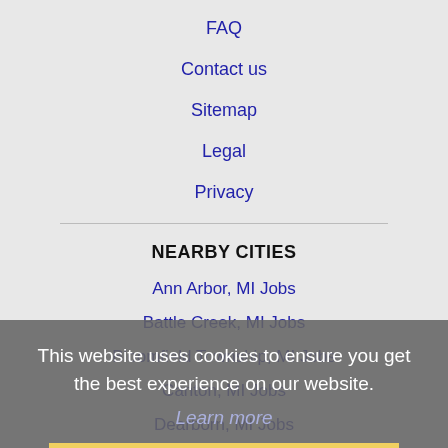FAQ
Contact us
Sitemap
Legal
Privacy
NEARBY CITIES
Ann Arbor, MI Jobs
Battle Creek, MI Jobs
Bloomfield Township, MI Jobs
Canton, MI Jobs
Dearborn, MI Jobs
Dearborn Heights, MI Jobs
Detroit, MI Jobs
East Lake, FL Jobs
East Lansing, MI Jobs
Elyria, OH Jobs
This website uses cookies to ensure you get the best experience on our website. Learn more
Got it!